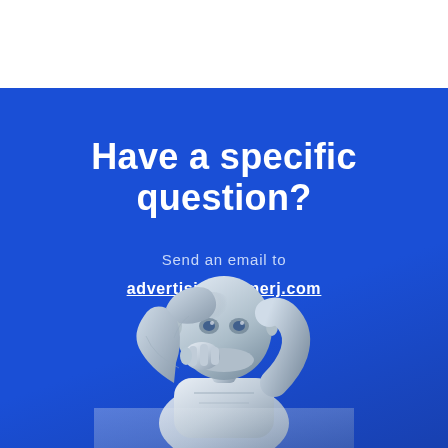Have a specific question?
Send an email to
advertising@emerj.com
[Figure (illustration): A metallic humanoid robot in a thinking pose, with its hand raised to its chin, rendered in silver/chrome tones against a blue gradient background.]